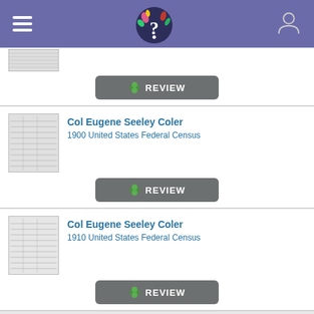Header with hamburger menu, logo, and user icon
[Figure (screenshot): Partial thumbnail of a census document record at top]
REVIEW
Col Eugene Seeley Coler
1900 United States Federal Census
REVIEW
Col Eugene Seeley Coler
1910 United States Federal Census
REVIEW
Col Eugene Seeley Coler
New York, U.S., State Census, 1925
REVIEW